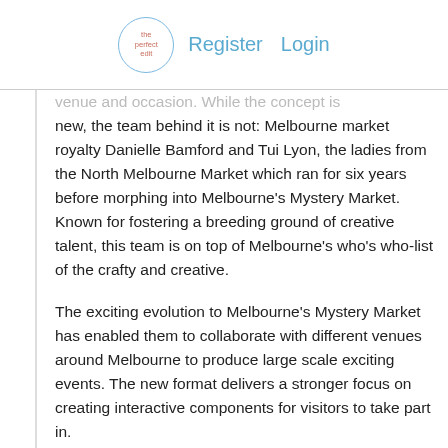The Perfect Edit — Register  Login
venue and occasion. While the concept is new, the team behind it is not: Melbourne market royalty Danielle Bamford and Tui Lyon, the ladies from the North Melbourne Market which ran for six years before morphing into Melbourne's Mystery Market. Known for fostering a breeding ground of creative talent, this team is on top of Melbourne's who's who-list of the crafty and creative.
The exciting evolution to Melbourne's Mystery Market has enabled them to collaborate with different venues around Melbourne to produce large scale exciting events. The new format delivers a stronger focus on creating interactive components for visitors to take part in.
The next D...